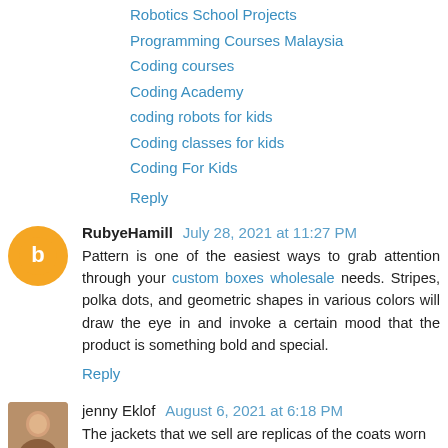Robotics School Projects
Programming Courses Malaysia
Coding courses
Coding Academy
coding robots for kids
Coding classes for kids
Coding For Kids
Reply
RubyeHamill  July 28, 2021 at 11:27 PM
Pattern is one of the easiest ways to grab attention through your custom boxes wholesale needs. Stripes, polka dots, and geometric shapes in various colors will draw the eye in and invoke a certain mood that the product is something bold and special.
Reply
jenny Eklof  August 6, 2021 at 6:18 PM
The jackets that we sell are replicas of the coats worn by